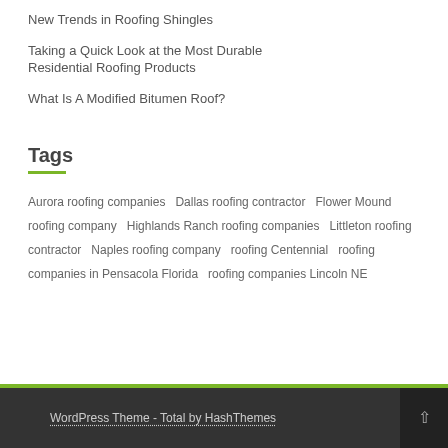New Trends in Roofing Shingles
Taking a Quick Look at the Most Durable Residential Roofing Products
What Is A Modified Bitumen Roof?
Tags
Aurora roofing companies  Dallas roofing contractor  Flower Mound roofing company  Highlands Ranch roofing companies  Littleton roofing contractor  Naples roofing company  roofing Centennial  roofing companies in Pensacola Florida  roofing companies Lincoln NE
WordPress Theme - Total by HashThemes